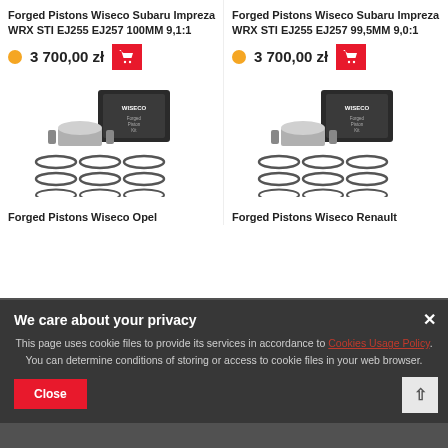Forged Pistons Wiseco Subaru Impreza WRX STI EJ255 EJ257 100MM 9,1:1
3 700,00 zł
Forged Pistons Wiseco Subaru Impreza WRX STI EJ255 EJ257 99,5MM 9,0:1
3 700,00 zł
[Figure (photo): Wiseco forged pistons kit with box, piston rings and cylinder liners]
[Figure (photo): Wiseco forged pistons kit with box, piston rings and cylinder liners]
Forged Pistons Wiseco Opel
Forged Pistons Wiseco Renault
We care about your privacy
This page uses cookie files to provide its services in accordance to Cookies Usage Policy. You can determine conditions of storing or access to cookie files in your web browser.
Close